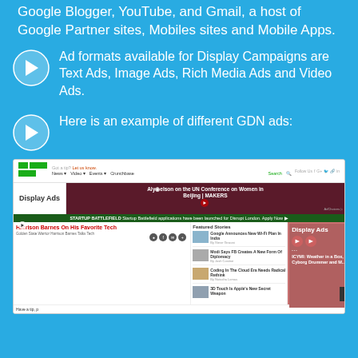Google Blogger, YouTube, and Gmail, a host of Google Partner sites, Mobiles sites and Mobile Apps.
Ad formats available for Display Campaigns are Text Ads, Image Ads, Rich Media Ads and Video Ads.
Here is an example of different GDN ads:
[Figure (screenshot): Screenshot of TechCrunch website showing display ads in two locations: a banner ad in the header area and a display ad in the right sidebar. The page shows news articles including 'Harrison Barnes On His Favorite Tech' and 'Featured Stories'. Labels pointing to the ads say 'Display Ads'.]